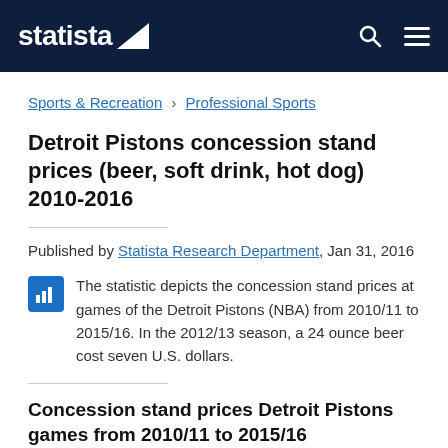statista
Sports & Recreation › Professional Sports
Detroit Pistons concession stand prices (beer, soft drink, hot dog) 2010-2016
Published by Statista Research Department, Jan 31, 2016
The statistic depicts the concession stand prices at games of the Detroit Pistons (NBA) from 2010/11 to 2015/16. In the 2012/13 season, a 24 ounce beer cost seven U.S. dollars.
Concession stand prices Detroit Pistons games from 2010/11 to 2015/16
(in U.S. dollars)